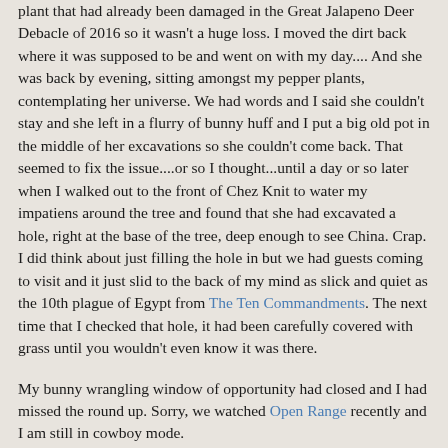plant that had already been damaged in the Great Jalapeno Deer Debacle of 2016 so it wasn't a huge loss. I moved the dirt back where it was supposed to be and went on with my day.... And she was back by evening, sitting amongst my pepper plants, contemplating her universe. We had words and I said she couldn't stay and she left in a flurry of bunny huff and I put a big old pot in the middle of her excavations so she couldn't come back. That seemed to fix the issue....or so I thought...until a day or so later when I walked out to the front of Chez Knit to water my impatiens around the tree and found that she had excavated a hole, right at the base of the tree, deep enough to see China. Crap. I did think about just filling the hole in but we had guests coming to visit and it just slid to the back of my mind as slick and quiet as the 10th plague of Egypt from The Ten Commandments. The next time that I checked that hole, it had been carefully covered with grass until you wouldn't even know it was there.
My bunny wrangling window of opportunity had closed and I had missed the round up. Sorry, we watched Open Range recently and I am still in cowboy mode.